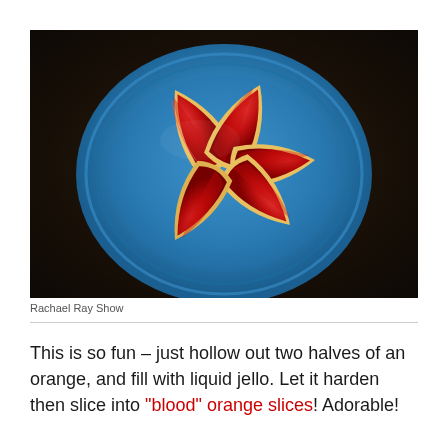[Figure (photo): Five blood orange jello slices arranged in a fan pattern on a round blue plate, photographed from above on a dark background. The jello is deep red/crimson and sits inside orange peel shells.]
Rachael Ray Show
This is so fun – just hollow out two halves of an orange, and fill with liquid jello. Let it harden then slice into "blood" orange slices! Adorable!